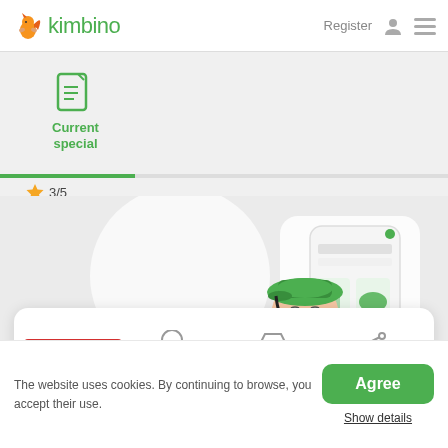kimbino — Register
Current special
3/5
[Figure (illustration): Illustration of a delivery person in a green hat and uniform holding a smartphone, with product images visible on the phone screen and background]
[Figure (logo): SHOPRITE logo in white text on red background]
Subscribe
Stores
Share
The website uses cookies. By continuing to browse, you accept their use.
Agree
Show details